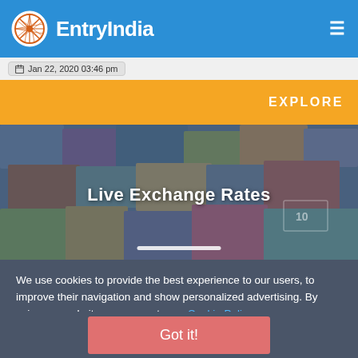EntryIndia
Jan 22, 2020 03:46 pm
EXPLORE
[Figure (photo): Hero image showing various international currency banknotes pinned to a board, with text overlay 'Live Exchange Rates']
Live Exchange Rates
We use cookies to provide the best experience to our users, to improve their navigation and show personalized advertising. By using our website, you agree to our Cookie Policy.
Got it!